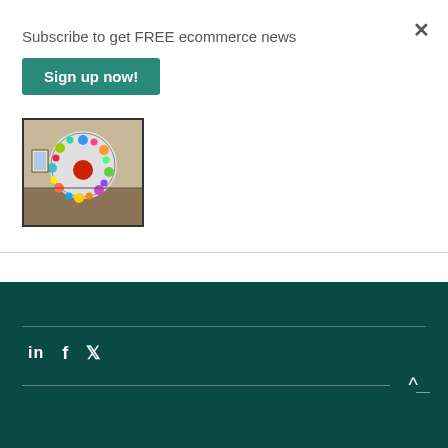Subscribe to get FREE ecommerce news
Sign up now!
×
[Figure (photo): Thumbnail image of colorful mosaic/collage artwork displayed in a gallery setting, showing a large circular decorative piece with vibrant colors]
in  f  [twitter bird icon]  ^ —